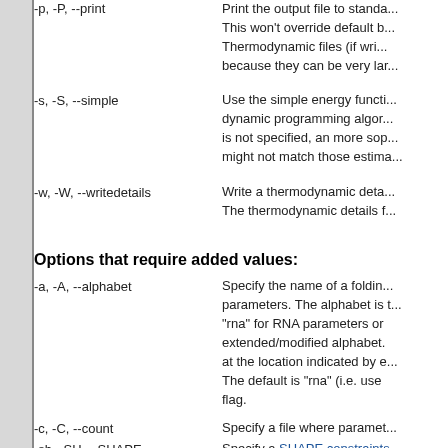-p, -P, --print | Print the output file to standard output. This won't override default b... Thermodynamic files (if wri... because they can be very larg...
-s, -S, --simple | Use the simple energy function dynamic programming algor... is not specified, an more sop... might not match those estima...
-w, -W, --writedetails | Write a thermodynamic deta... The thermodynamic details f...
Options that require added values:
-a, -A, --alphabet | Specify the name of a foldin... parameters. The alphabet is t... "rna" for RNA parameters or extended/modified alphabet. at the location indicated by e... The default is "rna" (i.e. use flag.
-c, -C, --count | Specify a file where paramet...
-sh, -SH, --SHAPE | Specify a SHAPE constraints... use SHAPE pseudoenergy co... Default is no SHAPE constra...